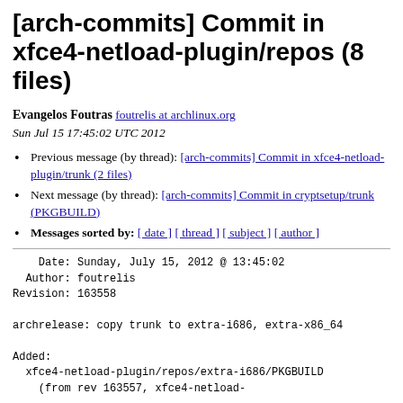[arch-commits] Commit in xfce4-netload-plugin/repos (8 files)
Evangelos Foutras foutrelis at archlinux.org
Sun Jul 15 17:45:02 UTC 2012
Previous message (by thread): [arch-commits] Commit in xfce4-netload-plugin/trunk (2 files)
Next message (by thread): [arch-commits] Commit in cryptsetup/trunk (PKGBUILD)
Messages sorted by: [ date ] [ thread ] [ subject ] [ author ]
Date: Sunday, July 15, 2012 @ 13:45:02
  Author: foutrelis
Revision: 163558

archrelease: copy trunk to extra-i686, extra-x86_64

Added:
  xfce4-netload-plugin/repos/extra-i686/PKGBUILD
    (from rev 163557, xfce4-netload-